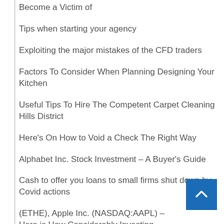Become a Victim of
Tips when starting your agency
Exploiting the major mistakes of the CFD traders
Factors To Consider When Planning Designing Your Kitchen
Useful Tips To Hire The Competent Carpet Cleaning Hills District
Here's On How to Void a Check The Right Way
Alphabet Inc. Stock Investment – A Buyer's Guide
Cash to offer you loans to small firms shut down by Covid actions
(ETHE), Apple Inc. (NASDAQ:AAPL) – Here is How Considerably Investing $1,000 In Ethereum 5 Yrs Back Would Be Value Now